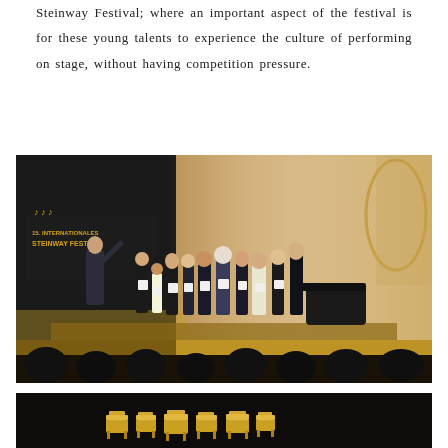Steinway Festival; where an important aspect of the festival is for these young talents to experience the culture of performing on stage, without having competition pressure.
[Figure (photo): Award ceremony on stage at the 15. Internationales Steinway Festival. A man in a suit gestures to a group of young performers holding certificates, standing in a grand concert hall with ornate golden decor. Audience members are visible in the foreground.]
[Figure (photo): Partial view of decorative Steinway Festival golden piano trophy figurines against a dark background.]